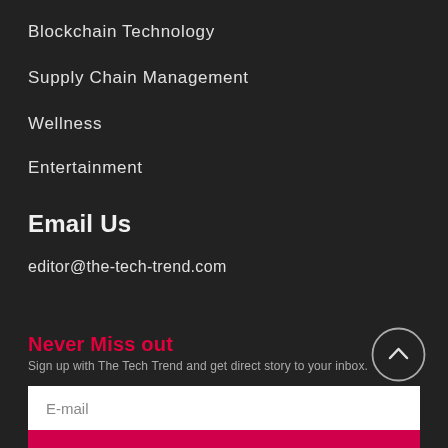Blockchain Technology
Supply Chain Management
Wellness
Entertainment
Email Us
editor@the-tech-trend.com
Never Miss out
Sign up with The Tech Trend and get direct story to your inbox.
E-mail